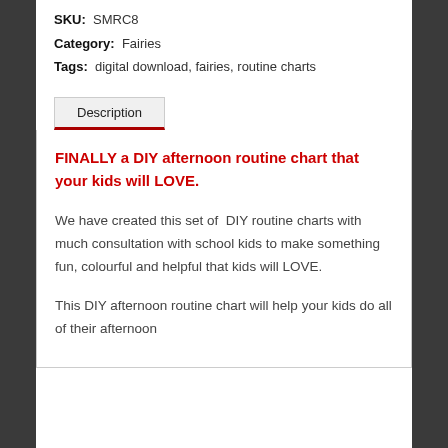SKU: SMRC8
Category: Fairies
Tags: digital download, fairies, routine charts
Description
FINALLY a DIY afternoon routine chart that your kids will LOVE.
We have created this set of  DIY routine charts with much consultation with school kids to make something fun, colourful and helpful that kids will LOVE.
This DIY afternoon routine chart will help your kids do all of their afternoon